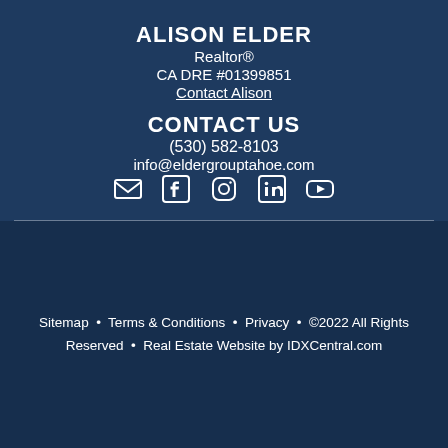ALISON ELDER
Realtor®
CA DRE #01399851
Contact Alison
CONTACT US
(530) 582-8103
info@eldergrouptahoe.com
[Figure (illustration): Social media icons: email, Facebook, Instagram, LinkedIn, YouTube]
Sitemap · Terms & Conditions · Privacy · ©2022 All Rights Reserved · Real Estate Website by IDXCentral.com